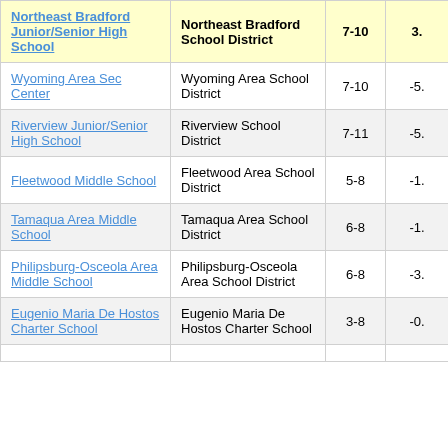| School | District | Grades | Score |
| --- | --- | --- | --- |
| Northeast Bradford Junior/Senior High School | Northeast Bradford School District | 7-10 | 3. |
| Wyoming Area Sec Center | Wyoming Area School District | 7-10 | -5. |
| Riverview Junior/Senior High School | Riverview School District | 7-11 | -5. |
| Fleetwood Middle School | Fleetwood Area School District | 5-8 | -1. |
| Tamaqua Area Middle School | Tamaqua Area School District | 6-8 | -1. |
| Philipsburg-Osceola Area Middle School | Philipsburg-Osceola Area School District | 6-8 | -3. |
| Eugenio Maria De Hostos Charter School | Eugenio Maria De Hostos Charter School | 3-8 | -0. |